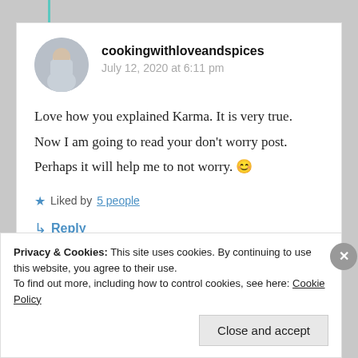[Figure (photo): Circular avatar of user cookingwithloveandspices]
cookingwithloveandspices
July 12, 2020 at 6:11 pm
Love how you explained Karma. It is very true. Now I am going to read your don’t worry post. Perhaps it will help me to not worry. 😊
★ Liked by 5 people
↳ Reply
Privacy & Cookies: This site uses cookies. By continuing to use this website, you agree to their use.
To find out more, including how to control cookies, see here: Cookie Policy